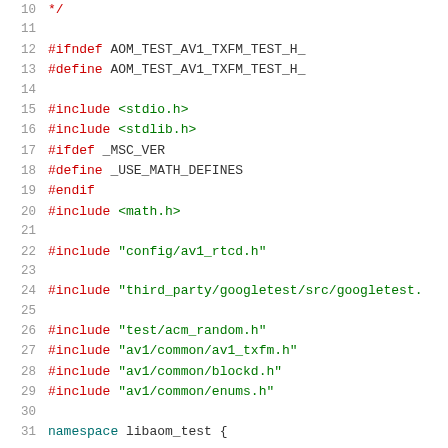10   */
11
12   #ifndef AOM_TEST_AV1_TXFM_TEST_H_
13   #define AOM_TEST_AV1_TXFM_TEST_H_
14
15   #include <stdio.h>
16   #include <stdlib.h>
17   #ifdef _MSC_VER
18   #define _USE_MATH_DEFINES
19   #endif
20   #include <math.h>
21
22   #include "config/av1_rtcd.h"
23
24   #include "third_party/googletest/src/googletest.
25
26   #include "test/acm_random.h"
27   #include "av1/common/av1_txfm.h"
28   #include "av1/common/blockd.h"
29   #include "av1/common/enums.h"
30
31   namespace libaom_test {